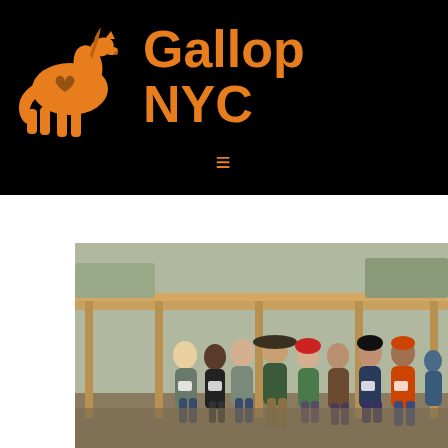[Figure (logo): Gallop NYC logo with orange horse silhouette (heart on body) and bold orange text 'Gallop NYC' on black background, with hamburger menu icon below]
least a week before the date of service.
[Figure (photo): Group of approximately 8 volunteers posing outdoors at an equestrian facility under a wooden covered structure, wearing winter clothing, on a cold day with bare trees in background]